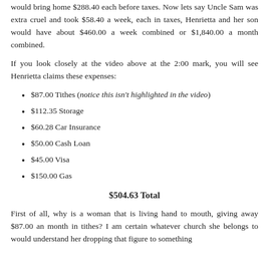would bring home $288.40 each before taxes. Now lets say Uncle Sam was extra cruel and took $58.40 a week, each in taxes, Henrietta and her son would have about $460.00 a week combined or $1,840.00 a month combined.
If you look closely at the video above at the 2:00 mark, you will see Henrietta claims these expenses:
$87.00 Tithes (notice this isn't highlighted in the video)
$112.35 Storage
$60.28 Car Insurance
$50.00 Cash Loan
$45.00 Visa
$150.00 Gas
$504.63 Total
First of all, why is a woman that is living hand to mouth, giving away $87.00 an month in tithes? I am certain whatever church she belongs to would understand her dropping that figure to something